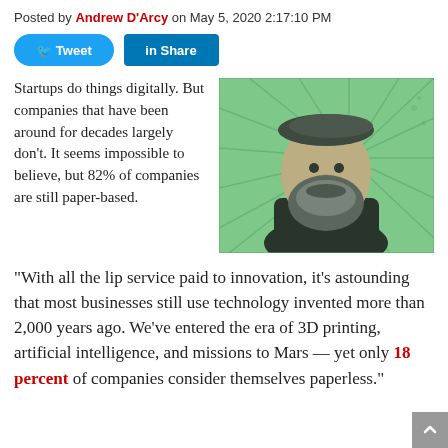Posted by Andrew D'Arcy on May 5, 2020 2:17:10 PM
[Figure (other): Tweet and LinkedIn Share social media buttons]
Startups do things digitally. But companies that have been around for decades largely don't. It seems impossible to believe, but 82% of companies are still paper-based.
[Figure (illustration): Green-tinted pop-art illustration of a bearded medieval man (Gutenberg) with radiating lines in the background]
“With all the lip service paid to innovation, it’s astounding that most businesses still use technology invented more than 2,000 years ago. We’ve entered the era of 3D printing, artificial intelligence, and missions to Mars — yet only 18 percent of companies consider themselves paperless.”